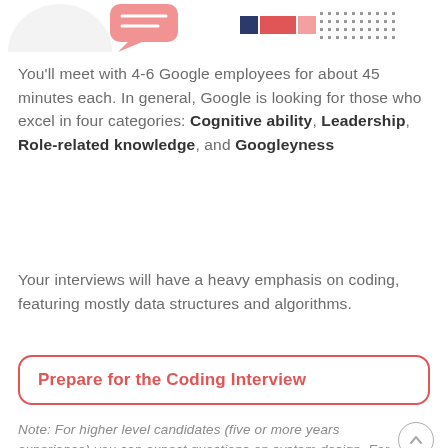[Figure (illustration): Top partial graphic showing a chat bubble icon on the left, and a colored bar with dotted pattern on the right, cropped from top of page]
You'll meet with 4-6 Google employees for about 45 minutes each. In general, Google is looking for those who excel in four categories: Cognitive ability, Leadership, Role-related knowledge, and Googleyness
Your interviews will have a heavy emphasis on coding, featuring mostly data structures and algorithms.
Prepare for the Coding Interview
Note: For higher level candidates (five or more years experience) you can expect questions on system design. For more practice on system design visit the link below: